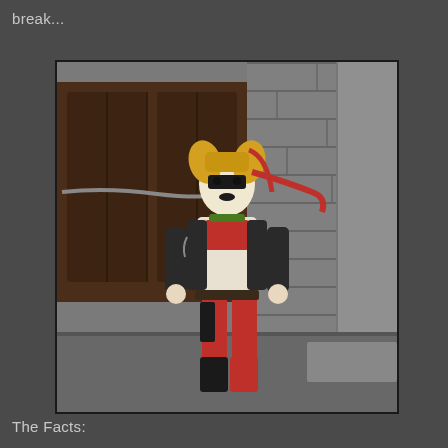break...
[Figure (photo): Action figure of Harley Quinn in red and black outfit with blonde pigtails, standing in front of a stone/brick wall backdrop. The figure wears a red top, red and black pants, dark jacket, and boots. She has black eye mask and flowing red hair accent.]
The Facts: